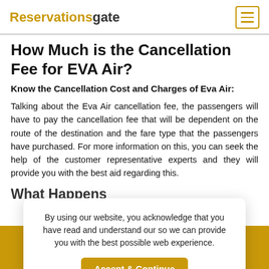Reservationsgate
How Much is the Cancellation Fee for EVA Air?
Know the Cancellation Cost and Charges of Eva Air:
Talking about the Eva Air cancellation fee, the passengers will have to pay the cancellation fee that will be dependent on the route of the destination and the fare type that the passengers have purchased. For more information on this, you can seek the help of the customer representative experts and they will provide you with the best aid regarding this.
What Happens If EVA Air Cancels my Flight?
By using our website, you acknowledge that you have read and understand our so we can provide you with the best possible web experience.
Call Us: +1-805-410-9066
click to call